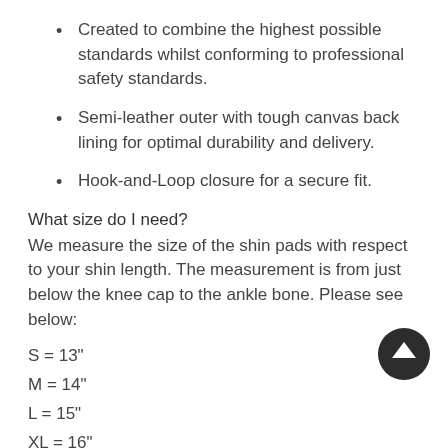Created to combine the highest possible standards whilst conforming to professional safety standards.
Semi-leather outer with tough canvas back lining for optimal durability and delivery.
Hook-and-Loop closure for a secure fit.
What size do I need?
We measure the size of the shin pads with respect to your shin length. The measurement is from just below the knee cap to the ankle bone. Please see below:
S = 13"
M = 14"
L = 15"
XL = 16"
How do I take care of my shin pads?
After every session, you should make sure that your air and dry your shin pads out. This is important because your shin...